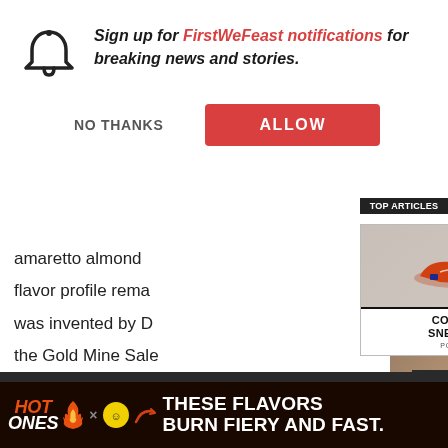Sign up for FirstWeFeast notifications for breaking news and stories.
NO THANKS
ALLOW
amaretto almond flavor profile rema... was invented by D... the Gold Mine Sale...
[Figure (screenshot): Top Articles panel with Complex Sneakers Podcast card showing a Nike sneaker image and men laughing photo panel with yellow arrow button]
Brandy Blazer
[Figure (photo): Hot Ones advertisement banner: 'THESE FLAVORS BURN FIERY AND FAST.' on dark background with Hot Ones and partner logos]